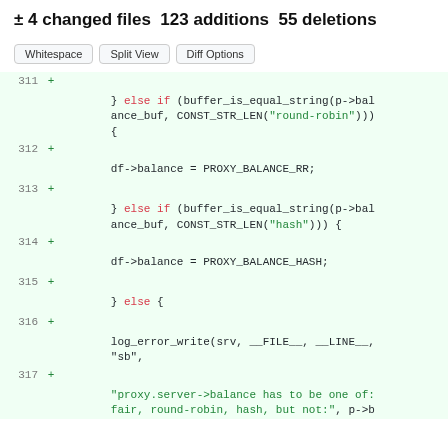± 4 changed files 123 additions 55 deletions
Whitespace | Split View | Diff Options
[Figure (screenshot): Git diff view showing lines 311-317, added lines with + markers on green background, code showing buffer_is_equal_string checks for round-robin, hash balance modes and log_error_write call]